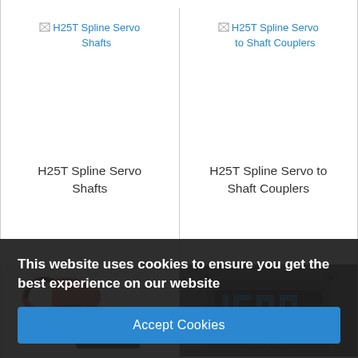[Figure (screenshot): Broken image placeholder for H25T Spline Servo Shafts product]
H25T Spline Servo Shafts
[Figure (screenshot): Broken image placeholder for H25T Spline Servo to Shaft Couplers product]
H25T Spline Servo to Shaft Couplers
[Figure (photo): Photo of a servo-related electronic component with red and black wires]
[Figure (photo): Photo of a servo monitor device displaying '1500' in blue LED digits]
This website uses cookies to ensure you get the best experience on our website
Accept Cookies